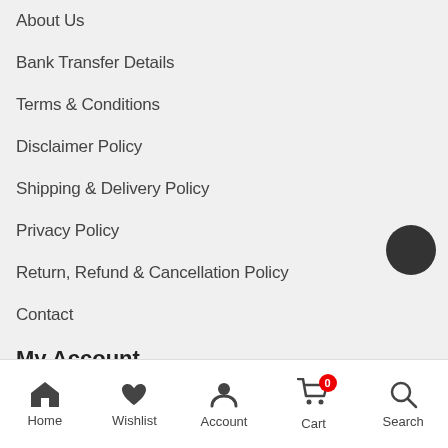About Us
Bank Transfer Details
Terms & Conditions
Disclaimer Policy
Shipping & Delivery Policy
Privacy Policy
Return, Refund & Cancellation Policy
Contact
My Account
My account
Home  Wishlist  Account  Cart  Search